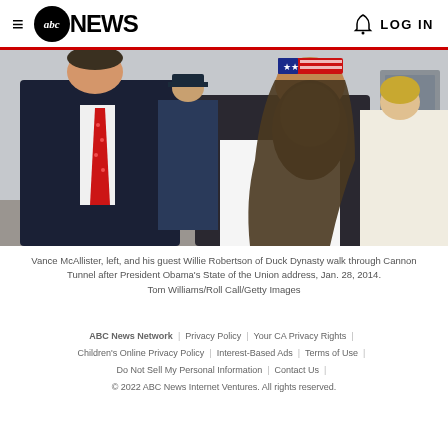abc NEWS  LOG IN
[Figure (photo): Vance McAllister and Willie Robertson of Duck Dynasty walking through Cannon Tunnel after President Obama's State of the Union address, Jan. 28, 2014. Two men in suits, one with a long beard wearing a US flag headband.]
Vance McAllister, left, and his guest Willie Robertson of Duck Dynasty walk through Cannon Tunnel after President Obama's State of the Union address, Jan. 28, 2014. Tom Williams/Roll Call/Getty Images
ABC News Network | Privacy Policy | Your CA Privacy Rights | Children's Online Privacy Policy | Interest-Based Ads | Terms of Use | Do Not Sell My Personal Information | Contact Us | © 2022 ABC News Internet Ventures. All rights reserved.